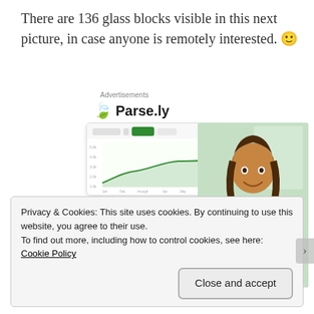There are 136 glass blocks visible in this next picture, in case anyone is remotely interested. 🙂
[Figure (advertisement): Parse.ly advertisement showing logo with green leaf, a dashboard analytics screenshot with a line chart, and a smiling woman in a green sweater. Headline reads 'Content Analytics Made Easy'.]
Privacy & Cookies: This site uses cookies. By continuing to use this website, you agree to their use.
To find out more, including how to control cookies, see here: Cookie Policy